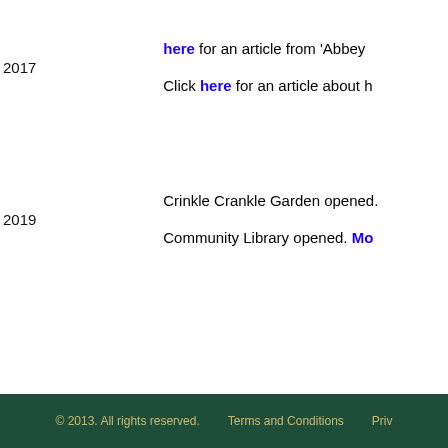| Year | Description |
| --- | --- |
| 2017 (partial) | Click here for an article from 'Abbey

Click here for an article about h |
| 2019 | Crinkle Crankle Garden opened.

Community Library opened. Mo |
© 2013. All rights reserved.    Terms and Conditions    Priv